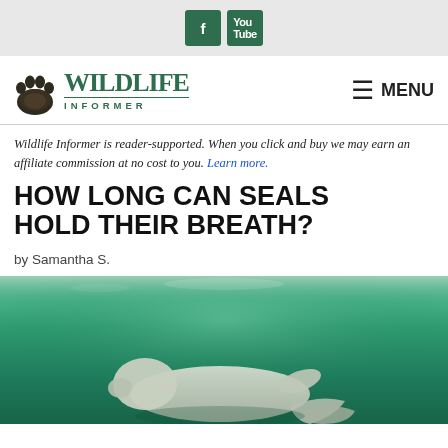Social media icons: Facebook, YouTube
[Figure (logo): Wildlife Informer logo with paw print icon and site name, plus hamburger menu button with MENU text]
Wildlife Informer is reader-supported. When you click and buy we may earn an affiliate commission at no cost to you. Learn more.
HOW LONG CAN SEALS HOLD THEIR BREATH?
by Samantha S.
[Figure (photo): A seal swimming underwater in green-tinted water, viewed from below/side]